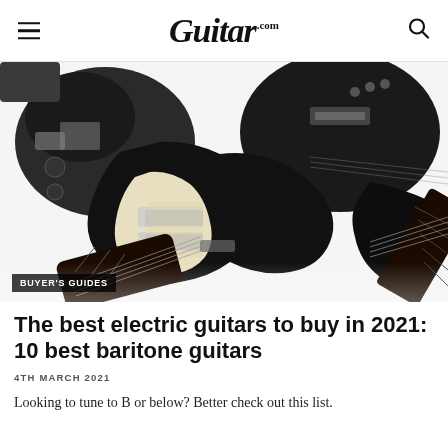Guitar.com
[Figure (photo): Close-up photo of multiple black electric baritone guitars against a white background, showing guitar bodies, pickups, bridges, and fretboards. A 'BUYER'S GUIDES' label is overlaid at the bottom left.]
The best electric guitars to buy in 2021: 10 best baritone guitars
4TH MARCH 2021
Looking to tune to B or below? Better check out this list.